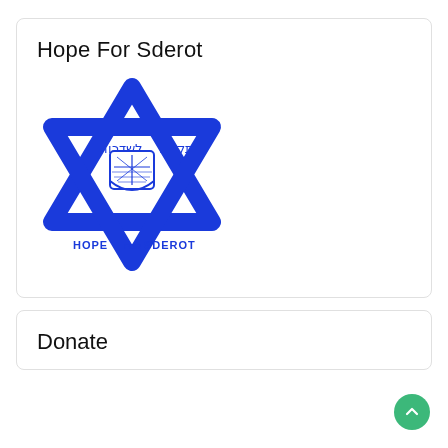Hope For Sderot
[Figure (logo): Hope For Sderot logo: a blue Star of David with Hebrew text 'תקווה' (hope) on the right and 'לשדרות' (for Sderot) on the left, a municipal shield emblem in the center, and the text 'HOPE FOR SDEROT' along the bottom points of the star]
Donate